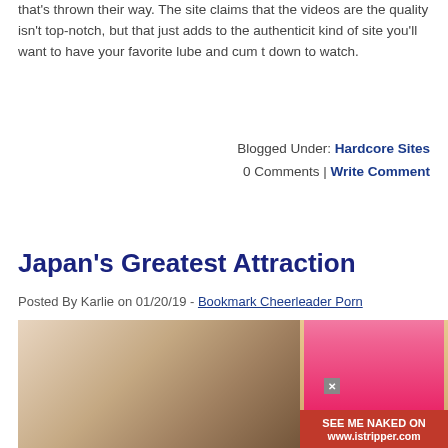that's thrown their way. The site claims that the videos are the quality isn't top-notch, but that just adds to the authenticity kind of site you'll want to have your favorite lube and cum to down to watch.
Blogged Under: Hardcore Sites
0 Comments | Write Comment
Japan's Greatest Attraction
Posted By Karlie on 01/20/19 - Bookmark Cheerleader Porn
[Figure (photo): A photo related to the blog post 'Japan's Greatest Attraction' showing a figure in a school-style outfit. An advertisement overlay in the bottom right shows a woman in a pink outfit with text 'SEE ME NAKED ON www.istripper.com' and a close button.]